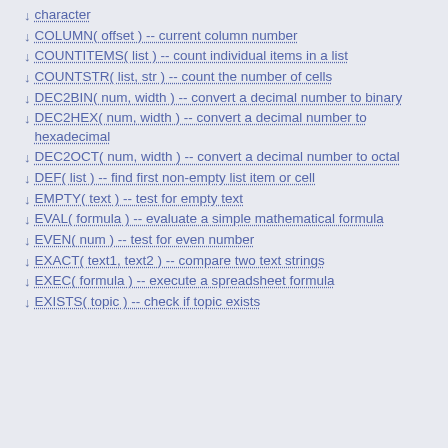character
COLUMN( offset ) -- current column number
COUNTITEMS( list ) -- count individual items in a list
COUNTSTR( list, str ) -- count the number of cells
DEC2BIN( num, width ) -- convert a decimal number to binary
DEC2HEX( num, width ) -- convert a decimal number to hexadecimal
DEC2OCT( num, width ) -- convert a decimal number to octal
DEF( list ) -- find first non-empty list item or cell
EMPTY( text ) -- test for empty text
EVAL( formula ) -- evaluate a simple mathematical formula
EVEN( num ) -- test for even number
EXACT( text1, text2 ) -- compare two text strings
EXEC( formula ) -- execute a spreadsheet formula
EXISTS( topic ) -- check if topic exists